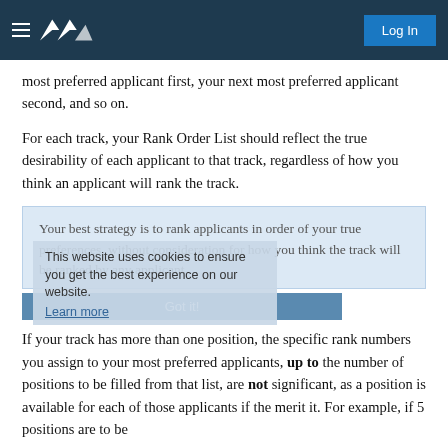Navigation bar with logo and Log In button
most preferred applicant first, your next most preferred applicant second, and so on.
For each track, your Rank Order List should reflect the true desirability of each applicant to that track, regardless of how you think an applicant will rank the track.
Your best strategy is to rank applicants in order of your true preferences, without consideration for how you think the track will be ranked by any applicant.
This website uses cookies to ensure you get the best experience on our website.
Learn more
Got it!
If your track has more than one position, the specific rank numbers you assign to your most preferred applicants, up to the number of positions to be filled from that list, are not significant, as a position is available for each of those applicants if the merit it. For example, if 5 positions are to be